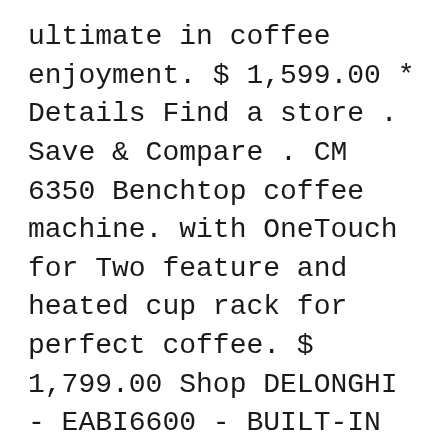ultimate in coffee enjoyment. $ 1,599.00 * Details Find a store . Save & Compare . CM 6350 Benchtop coffee machine. with OneTouch for Two feature and heated cup rack for perfect coffee. $ 1,799.00 Shop DELONGHI - EABI6600 - BUILT-IN COFFEE MACHINE at Bing Lee - Australian, Family Owned Business Since 1957 Next Day Delivery Afterpay & ZipPay Express Click & Collect
The built-in coffee machines fit perfectly into a 35 cm or 45 cm high niche in a tall cabinet. Combined vertically or horizontally with other Miele built-in appliances, they create a uniform appearance. Miele@home. SuperVision display. Reset all filters . Helpful links